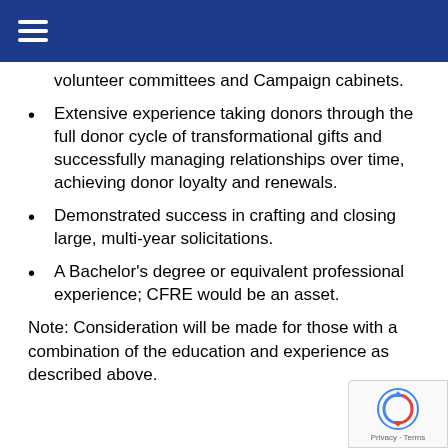volunteer committees and Campaign cabinets.
Extensive experience taking donors through the full donor cycle of transformational gifts and successfully managing relationships over time, achieving donor loyalty and renewals.
Demonstrated success in crafting and closing large, multi-year solicitations.
A Bachelor's degree or equivalent professional experience; CFRE would be an asset.
Note: Consideration will be made for those with a combination of the education and experience as described above.